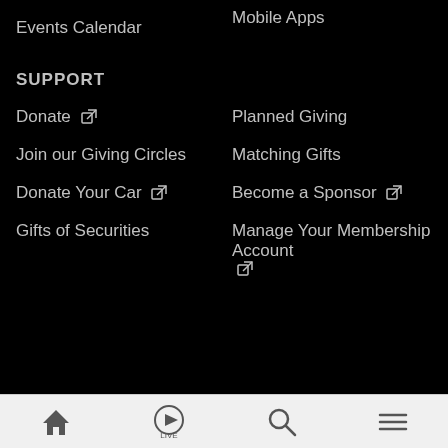Mobile Apps
Events Calendar
SUPPORT
Donate [external link]
Planned Giving
Join our Giving Circles
Matching Gifts
Donate Your Car [external link]
Become a Sponsor [external link]
Gifts of Securities
Manage Your Membership Account [external link]
Home | Live | Search | Menu